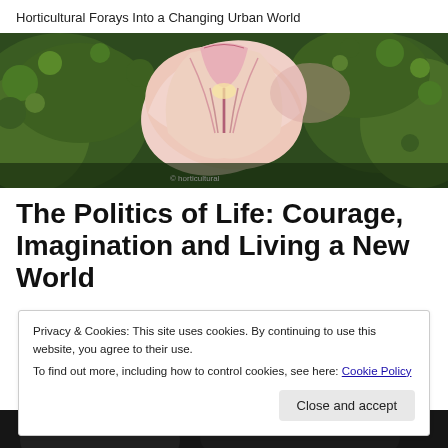Horticultural Forays Into a Changing Urban World
[Figure (photo): A close-up photograph of a pink and white flower with purple veining, surrounded by green foliage and small green flower clusters.]
The Politics of Life: Courage, Imagination and Living a New World
Privacy & Cookies: This site uses cookies. By continuing to use this website, you agree to their use.
To find out more, including how to control cookies, see here: Cookie Policy
[Figure (photo): A dark landscape photo visible at the bottom of the page, partially obscured.]